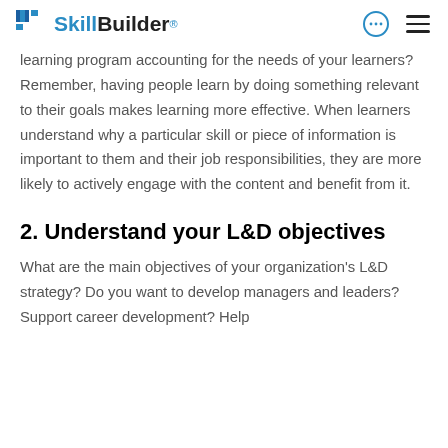SkillBuilder®
learning program accounting for the needs of your learners? Remember, having people learn by doing something relevant to their goals makes learning more effective. When learners understand why a particular skill or piece of information is important to them and their job responsibilities, they are more likely to actively engage with the content and benefit from it.
2. Understand your L&D objectives
What are the main objectives of your organization's L&D strategy? Do you want to develop managers and leaders? Support career development? Help